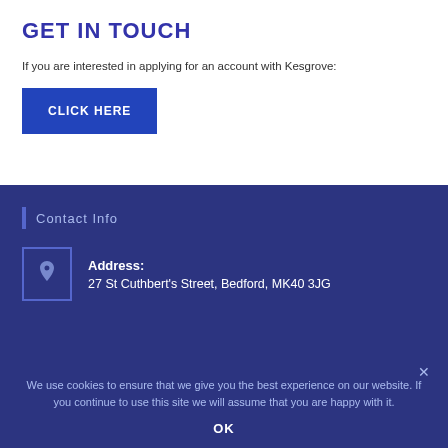GET IN TOUCH
If you are interested in applying for an account with Kesgrove:
CLICK HERE
Contact Info
Address:
27 St Cuthbert's Street, Bedford, MK40 3JG
We use cookies to ensure that we give you the best experience on our website. If you continue to use this site we will assume that you are happy with it.
OK